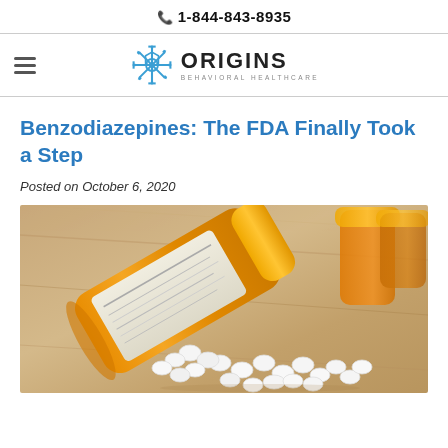📞 1-844-843-8935
[Figure (logo): Origins Behavioral Healthcare logo with gear/snowflake icon and text ORIGINS BEHAVIORAL HEALTHCARE]
Benzodiazepines: The FDA Finally Took a Step
Posted on October 6, 2020
[Figure (photo): Photo of an orange prescription pill bottle tipped on its side with white pills spilling out onto a wooden surface, with additional orange pill bottles in the background.]